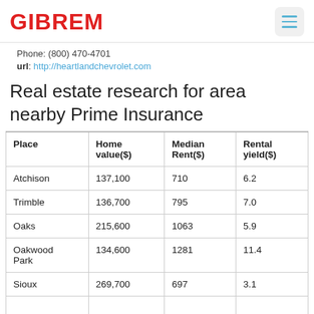GIBREM
Phone: (800) 470-4701
url: http://heartlandchevrolet.com
Real estate research for area nearby Prime Insurance
| Place | Home value($) | Median Rent($) | Rental yield($) |
| --- | --- | --- | --- |
| Atchison | 137,100 | 710 | 6.2 |
| Trimble | 136,700 | 795 | 7.0 |
| Oaks | 215,600 | 1063 | 5.9 |
| Oakwood Park | 134,600 | 1281 | 11.4 |
| Sioux | 269,700 | 697 | 3.1 |